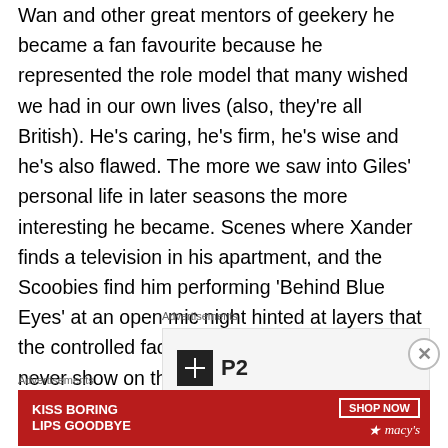Wan and other great mentors of geekery he became a fan favourite because he represented the role model that many wished we had in our own lives (also, they're all British). He's caring, he's firm, he's wise and he's also flawed. The more we saw into Giles' personal life in later seasons the more interesting he became. Scenes where Xander finds a television in his apartment, and the Scoobies find him performing 'Behind Blue Eyes' at an open mic night hinted at layers that the controlled facade of the Watcher could never show on the surface.
Advertisements
[Figure (logo): P2 logo — black square with white grid icon and 'P2' text]
Advertisements
[Figure (photo): Macy's advertisement banner: 'KISS BORING LIPS GOODBYE' with a woman's face and lips, SHOP NOW button, Macy's star logo on red background]